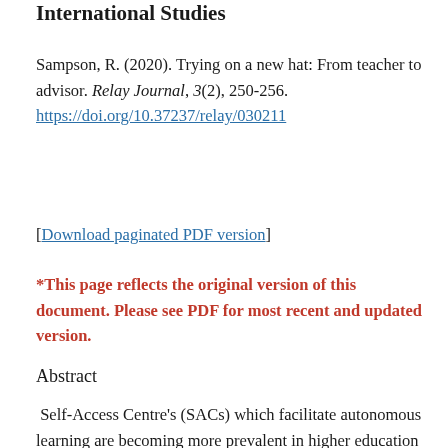International Studies
Sampson, R. (2020). Trying on a new hat: From teacher to advisor. Relay Journal, 3(2), 250-256. https://doi.org/10.37237/relay/030211
[Download paginated PDF version]
*This page reflects the original version of this document. Please see PDF for most recent and updated version.
Abstract
Self-Access Centre's (SACs) which facilitate autonomous learning are becoming more prevalent in higher education institutions